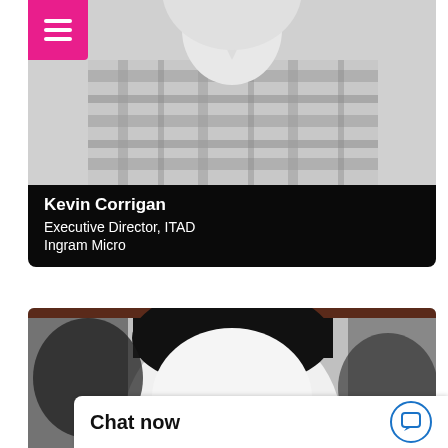[Figure (photo): Black and white photo of a person wearing a plaid flannel shirt, cropped to show torso and lower face area, with a pink/magenta hamburger menu icon overlay in top-left corner]
Kevin Corrigan
Executive Director, ITAD
Ingram Micro
[Figure (photo): High-contrast black and white photo of a person with dark hair and glasses, facing camera, close-up portrait]
Chat now